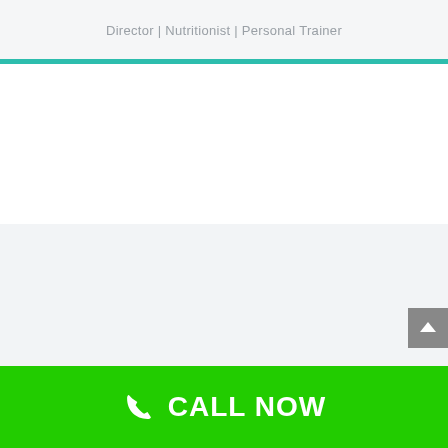Director | Nutritionist | Personal Trainer
[Figure (other): White empty content area below teal divider line]
[Figure (other): Light gray empty content section]
CALL NOW